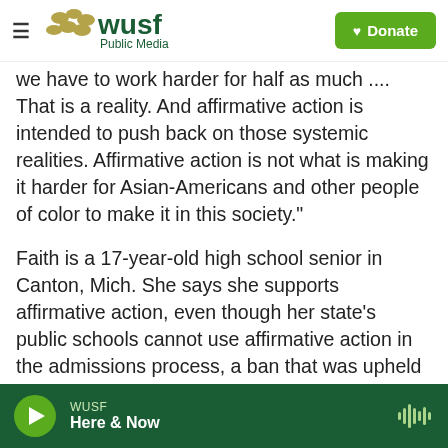WUSF Public Media | Donate
we have to work harder for half as much .... That is a reality. And affirmative action is intended to push back on those systemic realities. Affirmative action is not what is making it harder for Asian-Americans and other people of color to make it in this society."
Faith is a 17-year-old high school senior in Canton, Mich. She says she supports affirmative action, even though her state's public schools cannot use affirmative action in the admissions process, a ban that was upheld by a 2014 Supreme Court ruling. Faith, who identifies as half Laotian-American and half white, says her dream school is the University
WUSF Here & Now